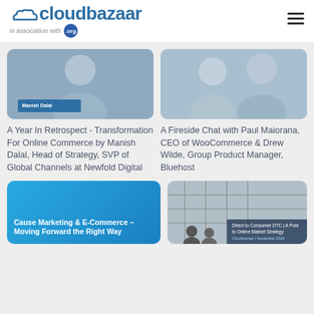cloudbazaar in association with .org
[Figure (photo): Video thumbnail showing Manish Dalal with name label overlay]
A Year In Retrospect - Transformation For Online Commerce by Manish Dalal, Head of Strategy, SVP of Global Channels at Newfold Digital
[Figure (photo): Video thumbnail showing Paul Maiorana and Drew Wilde in a fireside chat setting]
A Fireside Chat with Paul Maiorana, CEO of WooCommerce & Drew Wilde, Group Product Manager, Bluehost
[Figure (photo): Blue card thumbnail with text: Cause Marketing & E-Commerce - Moving Forward the Right Way]
[Figure (photo): Gray thumbnail with people silhouettes and overlay text about Direct to Consumer DTC]